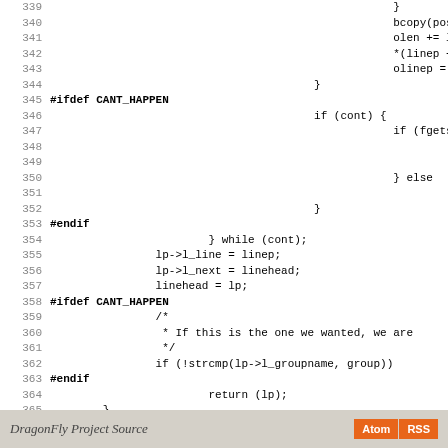Code listing lines 339-367 of DragonFly Project Source, showing C source code with line numbers
DragonFly Project Source  Atom  RSS